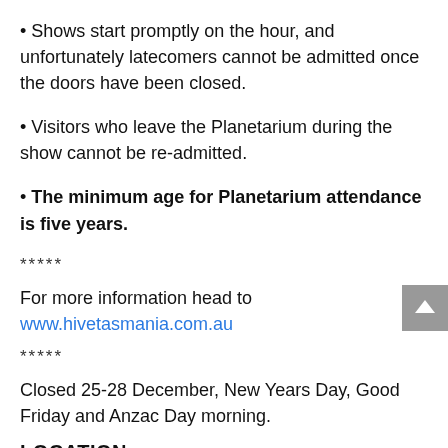• Shows start promptly on the hour, and unfortunately latecomers cannot be admitted once the doors have been closed.
• Visitors who leave the Planetarium during the show cannot be re-admitted.
• The minimum age for Planetarium attendance is five years.
*****
For more information head to www.hivetasmania.com.au
*****
Closed 25-28 December, New Years Day, Good Friday and Anzac Day morning.
LOCATION